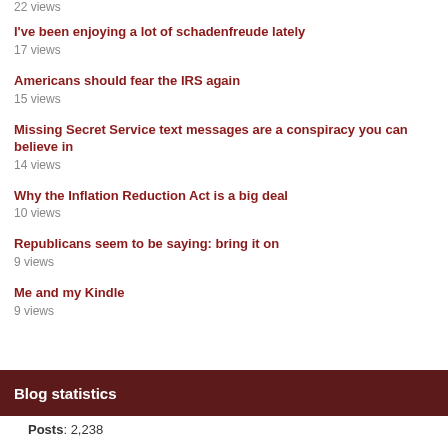22 views
I've been enjoying a lot of schadenfreude lately
17 views
Americans should fear the IRS again
15 views
Missing Secret Service text messages are a conspiracy you can believe in
14 views
Why the Inflation Reduction Act is a big deal
10 views
Republicans seem to be saying: bring it on
9 views
Me and my Kindle
9 views
Blog statistics
Posts: 2,238